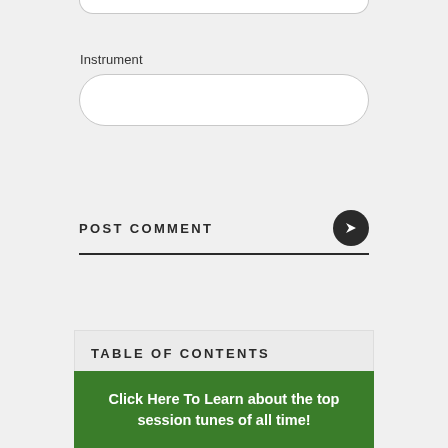Instrument
[Figure (screenshot): Empty rounded text input field for 'Instrument']
POST COMMENT
[Figure (other): Dark circular send/submit button with right-pointing arrow]
TABLE OF CONTENTS
Click Here To Learn about the top session tunes of all time!